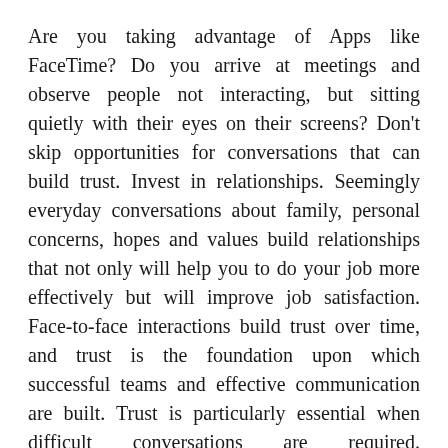Are you taking advantage of Apps like FaceTime? Do you arrive at meetings and observe people not interacting, but sitting quietly with their eyes on their screens? Don't skip opportunities for conversations that can build trust. Invest in relationships. Seemingly everyday conversations about family, personal concerns, hopes and values build relationships that not only will help you to do your job more effectively but will improve job satisfaction. Face-to-face interactions build trust over time, and trust is the foundation upon which successful teams and effective communication are built. Trust is particularly essential when difficult conversations are required. Communication requires a rhythm. Leaders create synergy with regular communication, and employees keep it going. It should be like a drum beat.
The response/reward system applies to your data handling